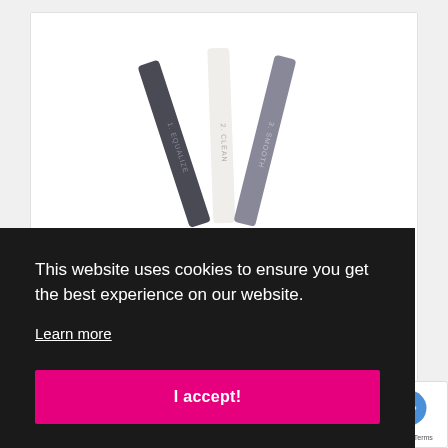[Figure (photo): Three elongated nail buffer/file sticks fanned out on white background, labeled 1. EQUALIZE, 2. CLEAN, 3. SMOOTH]
This website uses cookies to ensure you get the best experience on our website.
Learn more
I accept!
€ 21,91